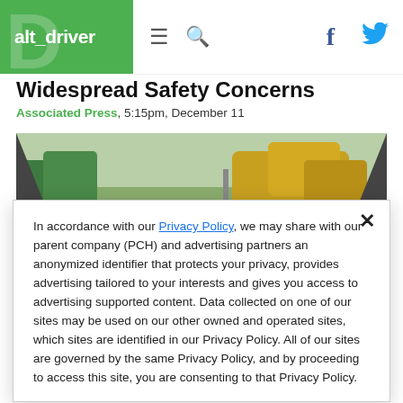alt_driver
Widespread Safety Concerns
Associated Press, 5:15pm, December 11
[Figure (photo): View from inside a car through the windshield, showing a driver's hands on the steering wheel, dashboard, and autumn trees visible through the windshield along a road.]
In accordance with our Privacy Policy, we may share with our parent company (PCH) and advertising partners an anonymized identifier that protects your privacy, provides advertising tailored to your interests and gives you access to advertising supported content. Data collected on one of our sites may be used on our other owned and operated sites, which sites are identified in our Privacy Policy. All of our sites are governed by the same Privacy Policy, and by proceeding to access this site, you are consenting to that Privacy Policy.
GEARHEAD